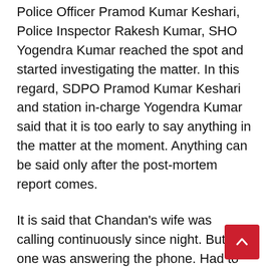Police Officer Pramod Kumar Keshari, Police Inspector Rakesh Kumar, SHO Yogendra Kumar reached the spot and started investigating the matter. In this regard, SDPO Pramod Kumar Keshari and station in-charge Yogendra Kumar said that it is too early to say anything in the matter at the moment. Anything can be said only after the post-mortem report comes.
It is said that Chandan's wife was calling continuously since night. But no one was answering the phone. Had to talk to the landlord as well. The son of the landlord beat the door of the manager's room for a long time and also rang the bell, but there was no